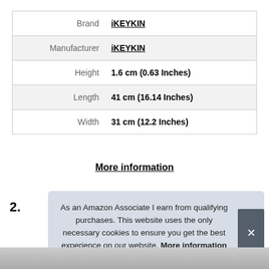|  |  |
| --- | --- |
| Brand | iKEYKIN |
| Manufacturer | iKEYKIN |
| Height | 1.6 cm (0.63 Inches) |
| Length | 41 cm (16.14 Inches) |
| Width | 31 cm (12.2 Inches) |
More information
2.
As an Amazon Associate I earn from qualifying purchases. This website uses the only necessary cookies to ensure you get the best experience on our website. More information